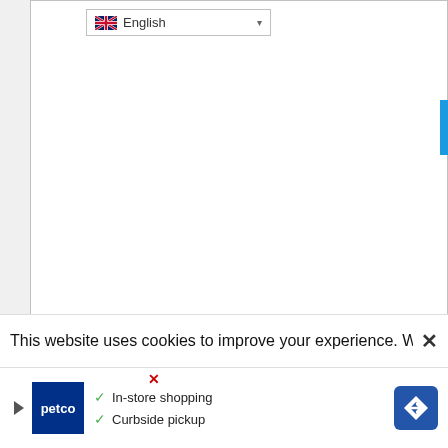[Figure (screenshot): A webpage UI fragment showing a language selector dropdown with a UK flag icon and 'English' text, two white content boxes with grey borders on a light grey background, a blue scrollbar tab on the right edge, a cookie consent banner reading 'This website uses cookies to improve your experience. We'll assu' with an X close button, and a Petco advertisement banner at the bottom showing 'In-store shopping' and 'Curbside pickup' with checkmarks and a navigation diamond icon.]